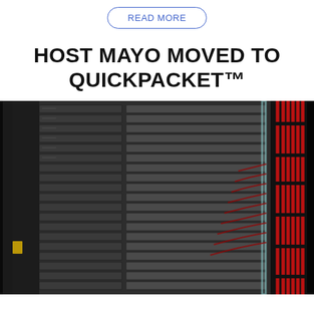READ MORE
HOST MAYO MOVED TO QUICKPACKET™
[Figure (photo): Server rack with multiple rack-mounted servers and red/black cables running along the right side, viewed from the front inside a data center cabinet.]